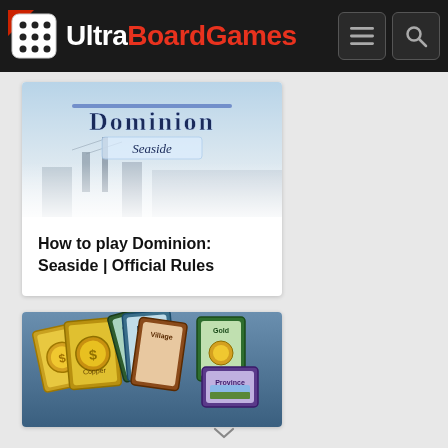Ultra BoardGames
[Figure (screenshot): Dominion Seaside board game box art — stylized text 'Dominion' with 'Seaside' subtitle over a nautical/harbor background]
How to play Dominion: Seaside | Official Rules
[Figure (photo): Dominion board game cards spread out on a blue surface — gold coin cards (Copper, Gold) and other game cards arranged in a fan]